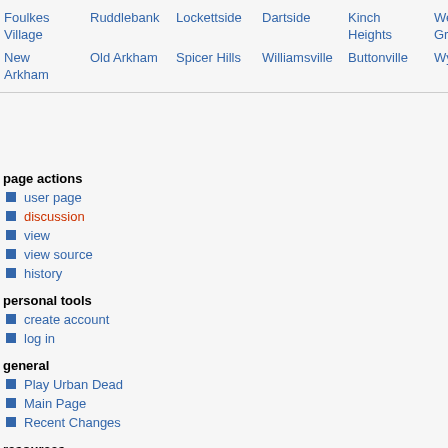Foulkes Village Ruddlebank Lockettside Dartside Kinch Heights West Grayside
New Arkham Old Arkham Spicer Hills Williamsville Buttonville Wyke Hi
page actions
user page
discussion
view
view source
history
personal tools
create account
log in
general
Play Urban Dead
Main Page
Recent Changes
resources